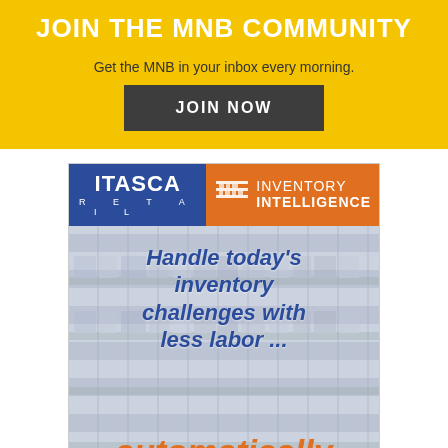JOIN THE MNB COMMUNITY
Get the MNB in your inbox every morning.
JOIN NOW
[Figure (logo): Itasca Retail Inventory Intelligence advertisement. Logo bar with blue Itasca Retail brand on left and orange Inventory Intelligence brand on right with shelf icon. Below is a store shelf background image with bold text: 'Handle today's inventory challenges with less labor ...' in blue italic and 'automatically' in orange italic.]